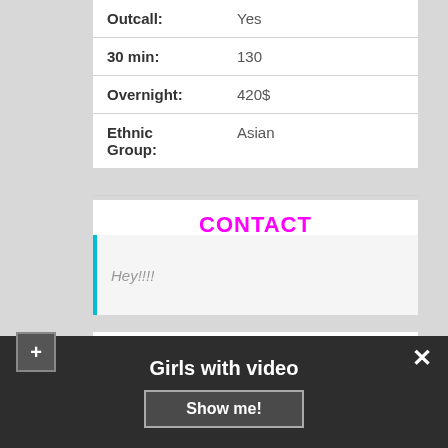| Field | Value |
| --- | --- |
| Outcall: | Yes |
| 30 min: | 130 |
| Overnight: | 420$ |
| Ethnic Group: | Asian |
CONTACT
Hey!!!!
Lola
[Figure (photo): Decorative floral wallpaper background with gold/brown arabesque pattern]
Girls with video
Show me!